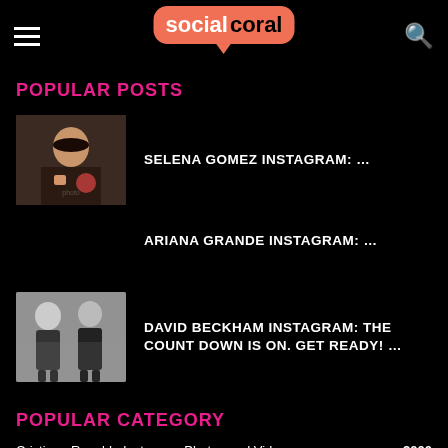social coral
POPULAR POSTS
[Figure (photo): Photo of Selena Gomez, a woman with dark hair posing with a drink]
SELENA GOMEZ INSTAGRAM: …
ARIANA GRANDE INSTAGRAM: …
[Figure (photo): Black and white photo of two men standing, David Beckham and another person]
DAVID BECKHAM INSTAGRAM: THE COUNT DOWN IS ON. GET READY! …
POPULAR CATEGORY
Cristiano Ronaldo Instagram Photos and Videos   2000